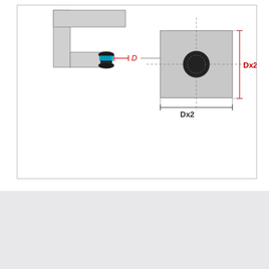[Figure (engineering-diagram): Engineering drawing showing a rivet/grommet installation in cross-section (side view, left) and top view (right). Side view shows an L-shaped bracket with a rivet inserted through, labeled D for diameter. Top view shows a square plate with a centered circular hole, with dimension lines labeled Dx2 for both width and height.]
HAVE A RIVETING EMERGENCY?
We can help. Our unmatched on-